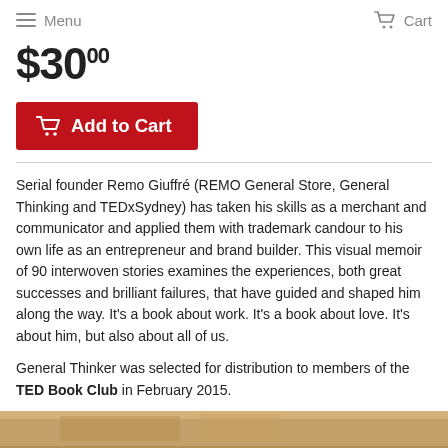Menu   Cart
$30.00
Add to Cart
Serial founder Remo Giuffré (REMO General Store, General Thinking and TEDxSydney) has taken his skills as a merchant and communicator and applied them with trademark candour to his own life as an entrepreneur and brand builder. This visual memoir of 90 interwoven stories examines the experiences, both great successes and brilliant failures, that have guided and shaped him along the way. It's a book about work. It's a book about love. It's about him, but also about all of us.
General Thinker was selected for distribution to members of the TED Book Club in February 2015.
[Figure (photo): Bottom portion of a book shown at the bottom of the page]